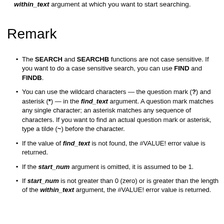within_text argument at which you want to start searching.
Remark
The SEARCH and SEARCHB functions are not case sensitive. If you want to do a case sensitive search, you can use FIND and FINDB.
You can use the wildcard characters — the question mark (?) and asterisk (*) — in the find_text argument. A question mark matches any single character; an asterisk matches any sequence of characters. If you want to find an actual question mark or asterisk, type a tilde (~) before the character.
If the value of find_text is not found, the #VALUE! error value is returned.
If the start_num argument is omitted, it is assumed to be 1.
If start_num is not greater than 0 (zero) or is greater than the length of the within_text argument, the #VALUE! error value is returned.